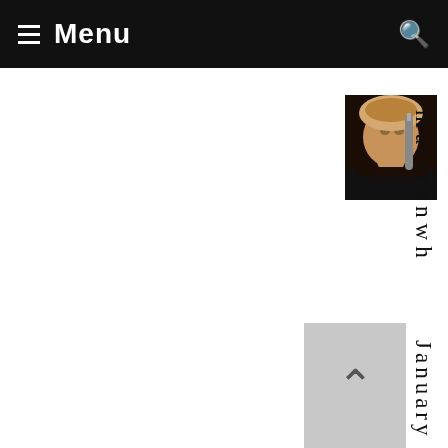Menu
[Figure (photo): Profile photo of a person with light-colored hair, appearing to be near a microphone, dark background]
mattronwh
January 6, 2012 at 9:13am